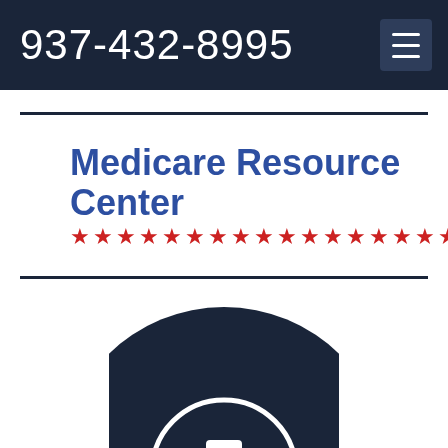937-432-8995
[Figure (logo): Medicare Resource Center logo with bold blue text and row of red stars beneath]
[Figure (illustration): Dark navy circle with a white medical cross (plus sign) inside a white ring, partially visible at bottom of page]